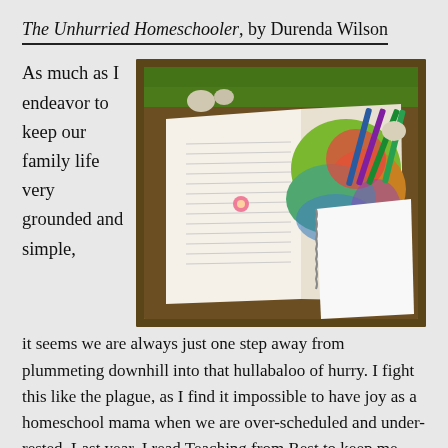The Unhurried Homeschooler, by Durenda Wilson
[Figure (photo): Open book with colorful illustrated pages and colored pencils in a wooden tray, viewed from above on grass]
As much as I endeavor to keep our family life very grounded and simple, it seems we are always just one step away from plummeting downhill into that hullabaloo of hurry. I fight this like the plague, as I find it impossible to have joy as a homeschool mama when we are over-scheduled and under-rested. Last year, I read Teaching from Rest to keep me accountable to the simplicity essential to any happy homeschooling journey. If you